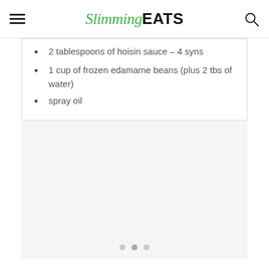Slimming EATS
2 tablespoons of hoisin sauce – 4 syns
1 cup of frozen edamame beans (plus 2 tbs of water)
spray oil
[Figure (photo): A large light gray image placeholder area with three small dots (carousel indicator) at the bottom center.]